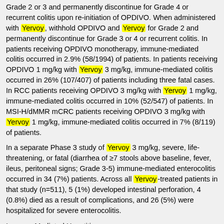Grade 2 or 3 and permanently discontinue for Grade 4 or recurrent colitis upon re-initiation of OPDIVO. When administered with Yervoy, withhold OPDIVO and Yervoy for Grade 2 and permanently discontinue for Grade 3 or 4 or recurrent colitis. In patients receiving OPDIVO monotherapy, immune-mediated colitis occurred in 2.9% (58/1994) of patients. In patients receiving OPDIVO 1 mg/kg with Yervoy 3 mg/kg, immune-mediated colitis occurred in 26% (107/407) of patients including three fatal cases. In RCC patients receiving OPDIVO 3 mg/kg with Yervoy 1 mg/kg, immune-mediated colitis occurred in 10% (52/547) of patients. In MSI-H/dMMR mCRC patients receiving OPDIVO 3 mg/kg with Yervoy 1 mg/kg, immune-mediated colitis occurred in 7% (8/119) of patients.
In a separate Phase 3 study of Yervoy 3 mg/kg, severe, life-threatening, or fatal (diarrhea of ≥7 stools above baseline, fever, ileus, peritoneal signs; Grade 3-5) immune-mediated enterocolitis occurred in 34 (7%) patients. Across all Yervoy-treated patients in that study (n=511), 5 (1%) developed intestinal perforation, 4 (0.8%) died as a result of complications, and 26 (5%) were hospitalized for severe enterocolitis.
Immune-Mediated Hepatitis
OPDIVO can cause immune-mediated hepatitis. Monitor patients for abnormal liver tests prior to and periodically during treatment. Administer corticosteroids for Grade 2 or greater transaminase elevations. For...